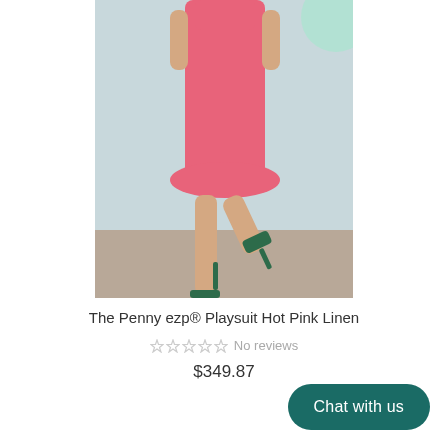[Figure (photo): Woman wearing a hot pink sleeveless playsuit/dress, posing with one leg raised, wearing dark green heeled sandals, against a light blue-grey background]
The Penny ezp® Playsuit Hot Pink Linen
☆☆☆☆☆ No reviews
$349.87
Chat with us